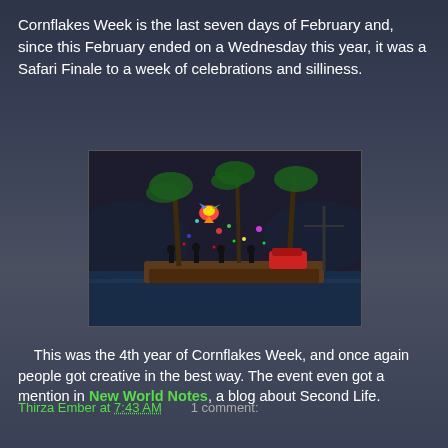Cornflakes Week is the last seven days of February and, since this February ended on a Wednesday this year, it was a Safari Finale to a week of celebrations and silliness.
[Figure (screenshot): Screenshot from a virtual world (Second Life) showing a tropical island scene with palm trees, colorful characters, fireworks/lights, people on a boat or platform, and water surrounding the scene. Dark moody sky in the background.]
This was the 4th year of Cornflakes Week, and once again people got creative in the best way. The event even got a mention in New World Notes, a blog about Second Life.
Thirza Ember at 7:43 AM   1 comment:
Share